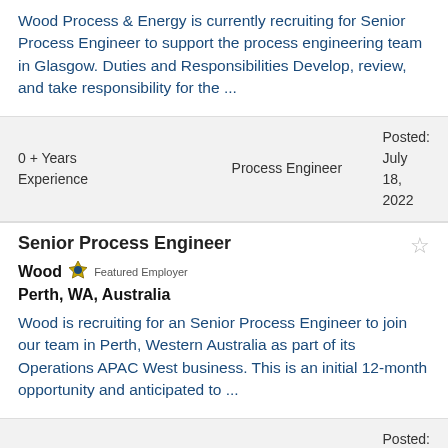Wood Process & Energy is currently recruiting for Senior Process Engineer to support the process engineering team in Glasgow. Duties and Responsibilities Develop, review, and take responsibility for the ...
| Experience | Job Type | Posted |
| --- | --- | --- |
| 0 + Years Experience | Process Engineer | Posted: July 18, 2022 |
Senior Process Engineer
Wood  Featured Employer
Perth, WA, Australia
Wood is recruiting for an Senior Process Engineer to join our team in Perth, Western Australia as part of its Operations APAC West business. This is an initial 12-month opportunity and anticipated to ...
| Experience | Job Type | Posted |
| --- | --- | --- |
| 8 + Years Experience | Process Engineer | Posted: July 13, 2022 |